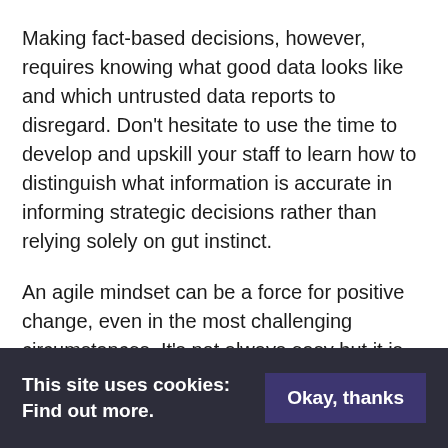Making fact-based decisions, however, requires knowing what good data looks like and which untrusted data reports to disregard. Don't hesitate to use the time to develop and upskill your staff to learn how to distinguish what information is accurate in informing strategic decisions rather than relying solely on gut instinct.
An agile mindset can be a force for positive change, even in the most challenging circumstances. It's not always easy but it is much easier than the alternative— which is to find yourself stuck doing things 'the old way' in
This site uses cookies: Find out more.